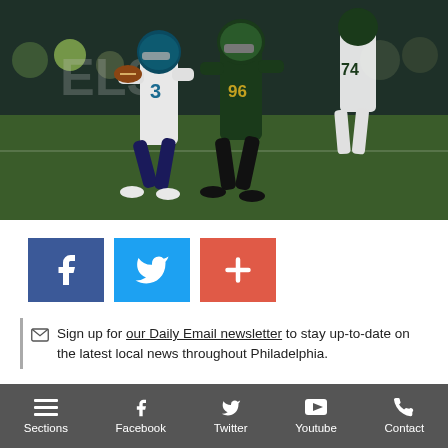[Figure (photo): NFL football game action photo: Seattle Seahawks quarterback wearing #3 white jersey running with the ball, pursued by a Philadelphia Eagles defender in dark green jersey #96, another Eagles player #74 visible in background, nighttime outdoor stadium setting]
[Figure (infographic): Social media share buttons row: Facebook (blue), Twitter (blue), and a red plus/add button]
Sign up for our Daily Email newsletter to stay up-to-date on the latest local news throughout Philadelphia.
The Eagles dropped their 2020 schedule last night and with game-
Sections   Facebook   Twitter   Youtube   Contact